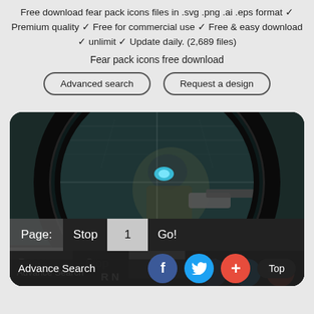Free download fear pack icons files in .svg .png .ai .eps format ✓ Premium quality ✓ Free for commercial use ✓ Free & easy download ✓ unlimit ✓ Update daily. (2,689 files)
Fear pack icons free download
Advanced search
Request a design
[Figure (screenshot): Screenshot of a fear pack icon showing a video game character (soldier/marine) through a rifle scope, circular black border. Below the image is a pagination bar with Page:, Stop, 1, Go! controls and a bottom bar with Advance Search, Facebook, Twitter, Add, and Top buttons.]
Page: Stop 1 Go!
Advance Search
Top